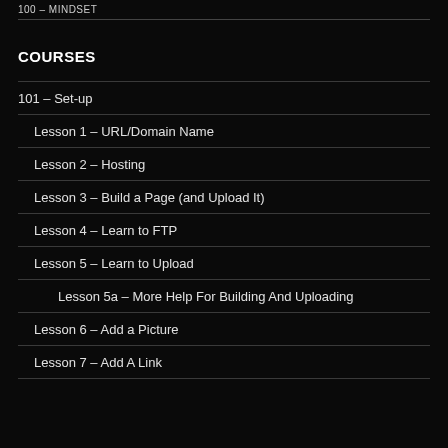100 – MINDSET
COURSES
101 – Set-up
Lesson 1 – URL/Domain Name
Lesson 2 – Hosting
Lesson 3 – Build a Page (and Upload It)
Lesson 4 – Learn to FTP
Lesson 5 – Learn to Upload
Lesson 5a – More Help For Building And Uploading
Lesson 6 – Add a Picture
Lesson 7 – Add A Link